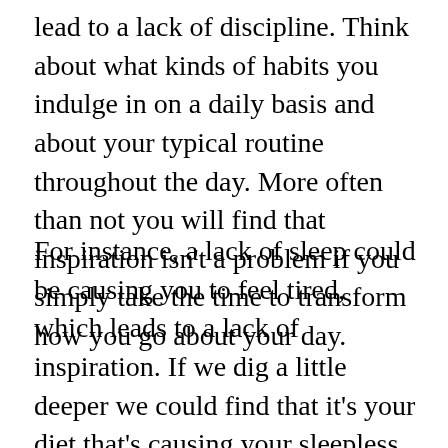lead to a lack of discipline. Think about what kinds of habits you indulge in on a daily basis and about your typical routine throughout the day. More often than not you will find that inspiration isn't a problem if you simply take the time to transform how you go about your day.
For instance, a lack of sleep could be causing you to feel tired, which leads to a lack of inspiration. If we dig a little deeper we could find that it's your diet that's causing your sleepless nights or that your lack of sleep is a result of not getting enough exercise throughout the week. Moreover, maybe you're